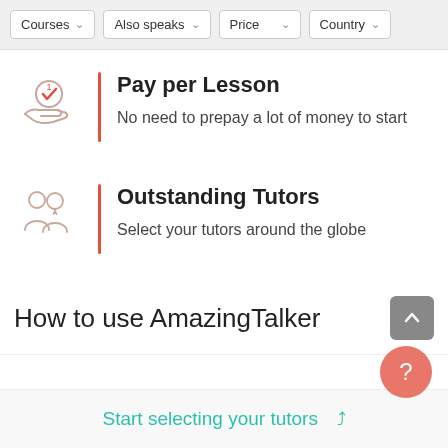Courses | Also speaks | Price | Country
[Figure (illustration): Hand holding a coin with checkmark icon]
Pay per Lesson
No need to prepay a lot of money to start
[Figure (illustration): Two people / tutors icon]
Outstanding Tutors
Select your tutors around the globe
How to use AmazingTalker
Start selecting your tutors